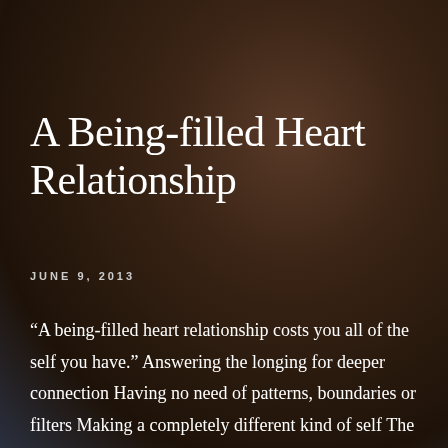A Being-filled Heart Relationship
JUNE 9, 2013
“A being-filled heart relationship costs you all of the self you have.” Answering the longing for deeper connection Having no need of patterns, boundaries or filters Making a completely different kind of self The goodness-physics of a